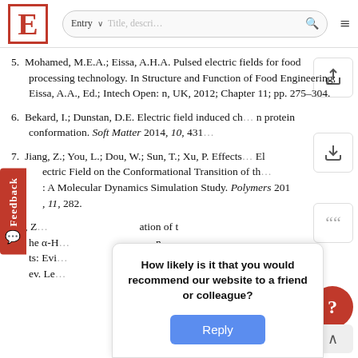E | Entry ˅ | Title, descri… 🔍 ≡
5. Mohamed, M.E.A.; Eissa, A.H.A. Pulsed electric fields for food processing technology. In Structure and Function of Food Engineering; Eissa, A.A., Ed.; Intech Open: n, UK, 2012; Chapter 11; pp. 275–304.
6. Bekard, I.; Dunstan, D.E. Electric field induced ch… n protein conformation. Soft Matter 2014, 10, 431…
7. Jiang, Z.; You, L.; Dou, W.; Sun, T.; Xu, P. Effects… El ectric Field on the Conformational Transition of th… : A Molecular Dynamics Simulation Study. Polymers 201 , 11, 282.
8. pin, Z… ation of t he α-H… n ts: Evi… R ev. Le…
How likely is it that you would recommend our website to a friend or colleague? Reply